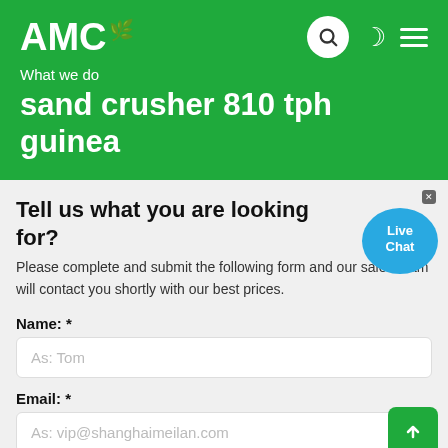AMC
What we do
sand crusher 810 tph guinea
Tell us what you are looking for?
Please complete and submit the following form and our sales team will contact you shortly with our best prices.
Name: *
As: Tom
Email: *
As: vip@shanghaimeilan.com
Phone: *
With Country Code